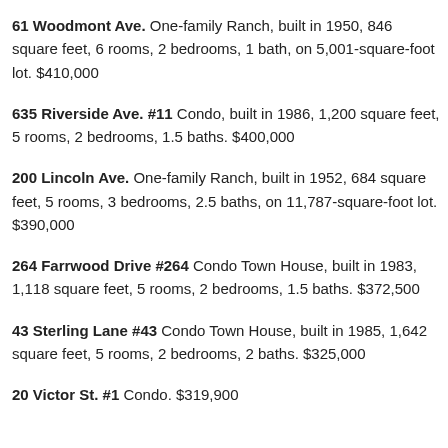61 Woodmont Ave. One-family Ranch, built in 1950, 846 square feet, 6 rooms, 2 bedrooms, 1 bath, on 5,001-square-foot lot. $410,000
635 Riverside Ave. #11 Condo, built in 1986, 1,200 square feet, 5 rooms, 2 bedrooms, 1.5 baths. $400,000
200 Lincoln Ave. One-family Ranch, built in 1952, 684 square feet, 5 rooms, 3 bedrooms, 2.5 baths, on 11,787-square-foot lot. $390,000
264 Farrwood Drive #264 Condo Town House, built in 1983, 1,118 square feet, 5 rooms, 2 bedrooms, 1.5 baths. $372,500
43 Sterling Lane #43 Condo Town House, built in 1985, 1,642 square feet, 5 rooms, 2 bedrooms, 2 baths. $325,000
20 Victor St. #1 Condo. $319,900